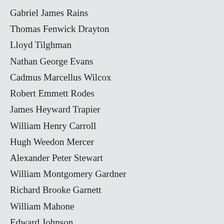Gabriel James Rains
Thomas Fenwick Drayton
Lloyd Tilghman
Nathan George Evans
Cadmus Marcellus Wilcox
Robert Emmett Rodes
James Heyward Trapier
William Henry Carroll
Hugh Weedon Mercer
Alexander Peter Stewart
William Montgomery Gardner
Richard Brooke Garnett
William Mahone
Edward Johnson